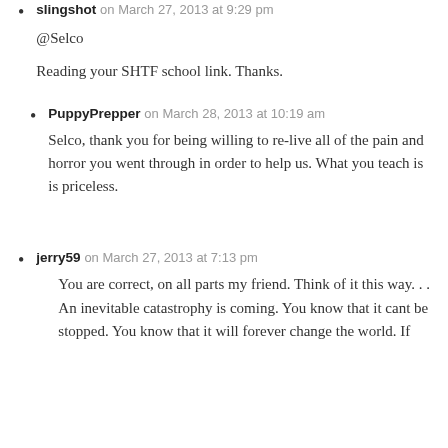slingshot on March 27, 2013 at 9:29 pm
@Selco
Reading your SHTF school link. Thanks.
PuppyPrepper on March 28, 2013 at 10:19 am
Selco, thank you for being willing to re-live all of the pain and horror you went through in order to help us. What you teach is is priceless.
jerry59 on March 27, 2013 at 7:13 pm
You are correct, on all parts my friend. Think of it this way... An inevitable catastrophy is coming. You know that it cant be stopped. You know that it will forever change the world. If